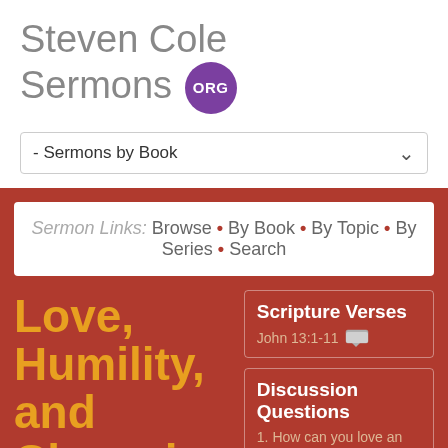Steven Cole Sermons .ORG
- Sermons by Book
Sermon Links: Browse • By Book • By Topic • By Series • Search
Love, Humility, and Cleansing
Scripture Verses
John 13:1-11
Discussion Questions
1. How can you love an